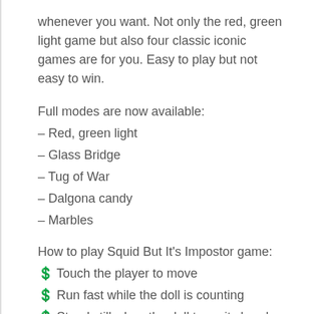whenever you want. Not only the red, green light game but also four classic iconic games are for you. Easy to play but not easy to win.
Full modes are now available:
– Red, green light
– Glass Bridge
– Tug of War
– Dalgona candy
– Marbles
How to play Squid But It's Impostor game:
♦ Touch the player to move
♦ Run fast while the doll is counting
♦ Stand still when the doll turns its head
♦ Be one of the 5 people to finish first